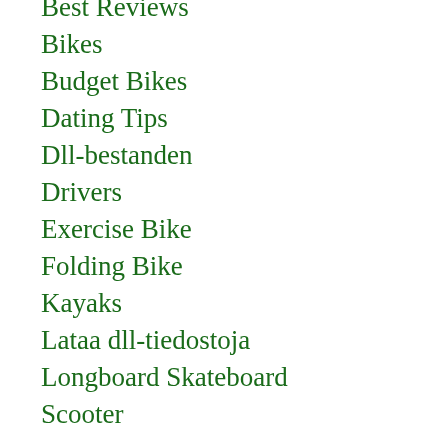Best Reviews
Bikes
Budget Bikes
Dating Tips
Dll-bestanden
Drivers
Exercise Bike
Folding Bike
Kayaks
Lataa dll-tiedostoja
Longboard Skateboard
Scooter